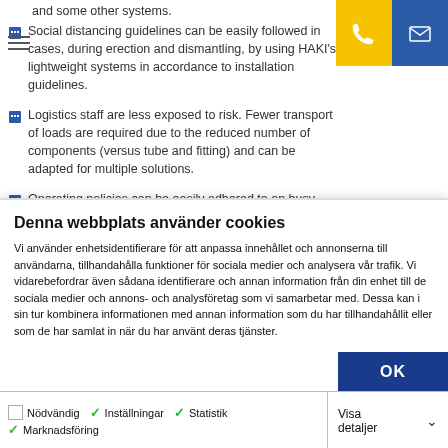and some other systems.
Social distancing guidelines can be easily followed in cases, during erection and dismantling, by using HAKI's lightweight systems in accordance to installation guidelines.
Logistics staff are less exposed to risk. Fewer transport of loads are required due to the reduced number of components (versus tube and fitting) and can be adapted for multiple solutions.
Operating policies can be easily adhered to on busy sites, by
Denna webbplats använder cookies
Vi använder enhetsidentifierare för att anpassa innehållet och annonserna till användarna, tillhandahålla funktioner för sociala medier och analysera vår trafik. Vi vidarebefordrar även sådana identifierare och annan information från din enhet till de sociala medier och annons- och analysföretag som vi samarbetar med. Dessa kan i sin tur kombinera informationen med annan information som du har tillhandahållit eller som de har samlat in när du har använt deras tjänster.
OK
Nödvändig  Inställningar  Statistik  Marknadsföring  Visa detaljer